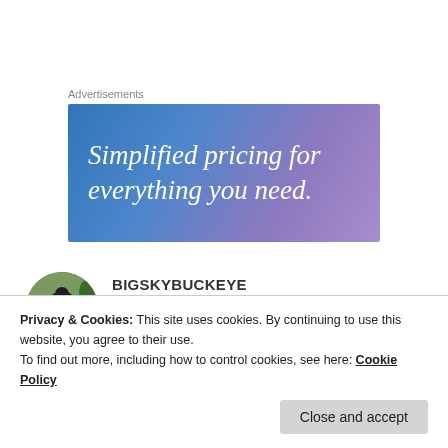Advertisements
[Figure (illustration): Advertisement banner with gradient blue-purple background and white italic text reading 'Simplified pricing for everything you need.']
BIGSKYBUCKEYE
17 Apr 2019 at 5:54 pm
[Figure (photo): Circular avatar photo showing a bear statue outdoors]
Privacy & Cookies: This site uses cookies. By continuing to use this website, you agree to their use.
To find out more, including how to control cookies, see here: Cookie Policy
Close and accept